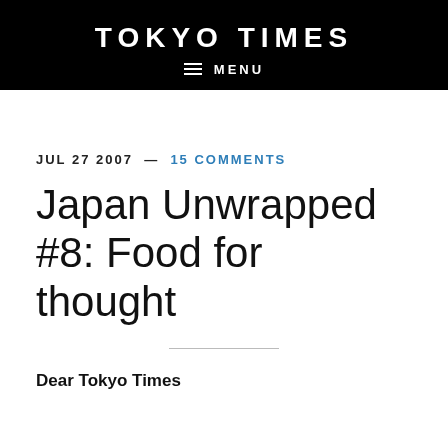TOKYO TIMES
≡ MENU
JUL 27 2007 — 15 COMMENTS
Japan Unwrapped #8: Food for thought
Dear Tokyo Times